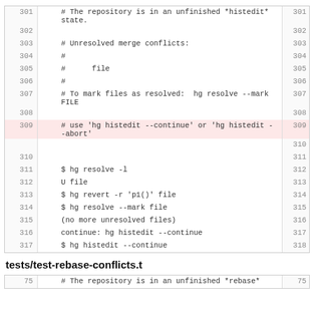Code block showing lines 301-317 with line numbers and highlighted line 309
tests/test-rebase-conflicts.t
Code block showing line 75